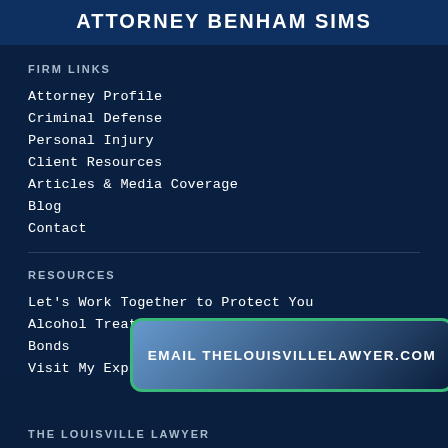ATTORNEY BENHAM SIMS
FIRM LINKS
Attorney Profile
Criminal Defense
Personal Injury
Client Resources
Articles & Media Coverage
Blog
Contact
RESOURCES
Let's Work Together to Protect You
Alcohol Treatment Programs
Bonds
Visit My Expunge...Website
EMAIL THELOUISVILLELAWYER.COM
THE LOUISVILLE LAWYER